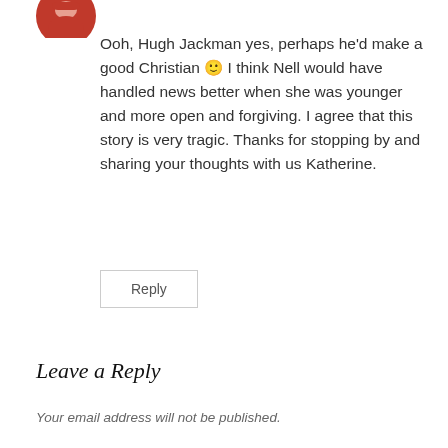[Figure (photo): Partial circular avatar image showing a person with red/pink colors, cropped at top of page]
Ooh, Hugh Jackman yes, perhaps he'd make a good Christian 🙂 I think Nell would have handled news better when she was younger and more open and forgiving. I agree that this story is very tragic. Thanks for stopping by and sharing your thoughts with us Katherine.
Reply
Leave a Reply
Your email address will not be published.